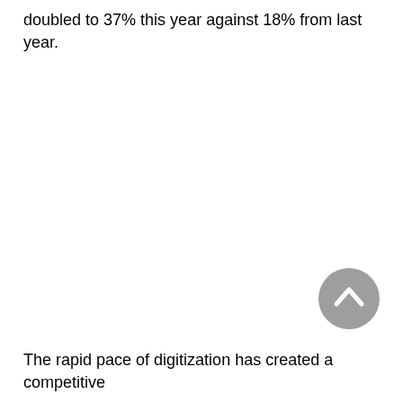doubled to 37% this year against 18% from last year.
[Figure (other): Gray circular scroll-to-top button with an upward-pointing chevron arrow icon]
The rapid pace of digitization has created a competitive